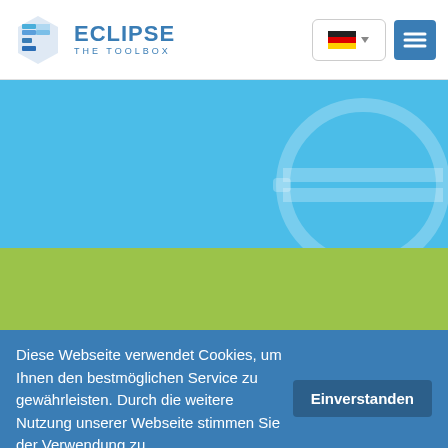[Figure (logo): Eclipse The Toolbox logo with blue gear/shield icon and text ECLIPSE THE TOOLBOX]
[Figure (screenshot): Navigation bar with German flag language selector and hamburger menu button in blue]
[Figure (illustration): Blue hero banner with faint Eclipse logo watermark on the right]
[Figure (illustration): Green/lime colored banner section]
Diese Webseite verwendet Cookies, um Ihnen den bestmöglichen Service zu gewährleisten. Durch die weitere Nutzung unserer Webseite stimmen Sie der Verwendung zu.
Einverstanden